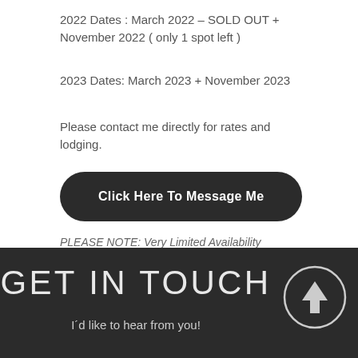2022 Dates : March 2022 – SOLD OUT + November 2022 ( only 1 spot left )
2023 Dates: March 2023 + November 2023
Please contact me directly for rates and lodging.
Click Here To Message Me
PLEASE NOTE: Very Limited Availability
GET IN TOUCH
I´d like to hear from you!